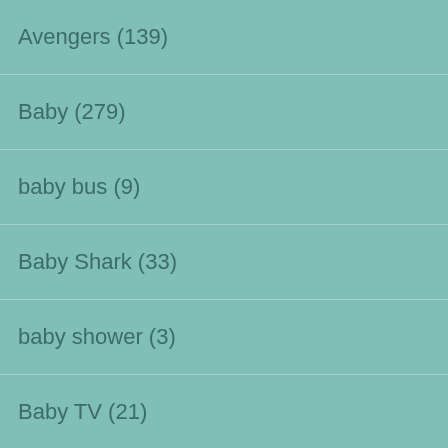Avengers (139)
Baby (279)
baby bus (9)
Baby Shark (33)
baby shower (3)
Baby TV (21)
BabyFirst (1)
Backyardigans (14)